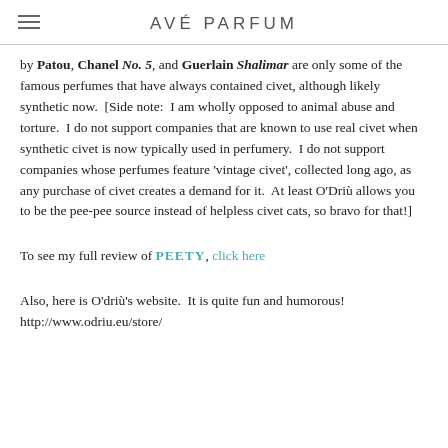AVÉ PARFUM
by Patou, Chanel No. 5, and Guerlain Shalimar are only some of the famous perfumes that have always contained civet, although likely synthetic now.  [Side note:  I am wholly opposed to animal abuse and torture.  I do not support companies that are known to use real civet when synthetic civet is now typically used in perfumery.  I do not support companies whose perfumes feature 'vintage civet', collected long ago, as any purchase of civet creates a demand for it.  At least O'Driù allows you to be the pee-pee source instead of helpless civet cats, so bravo for that!]
To see my full review of PEETY, click here
Also, here is O'driù's website.  It is quite fun and humorous! http://www.odriu.eu/store/